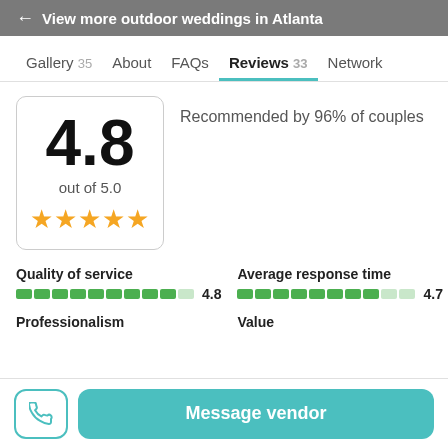← View more outdoor weddings in Atlanta
Gallery 35   About   FAQs   Reviews 33   Network
4.8
out of 5.0
★★★★★
Recommended by 96% of couples
Quality of service
4.8
Average response time
4.7
Professionalism
Value
Message vendor